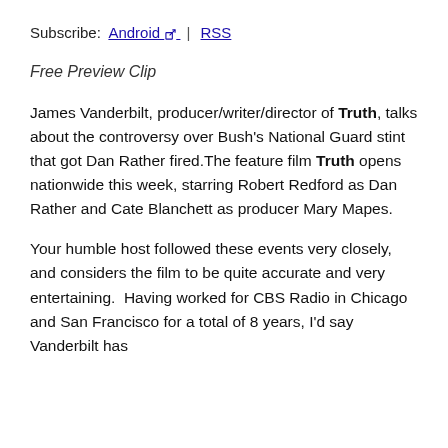Subscribe: Android | RSS
Free Preview Clip
James Vanderbilt, producer/writer/director of Truth, talks about the controversy over Bush's National Guard stint that got Dan Rather fired.The feature film Truth opens nationwide this week, starring Robert Redford as Dan Rather and Cate Blanchett as producer Mary Mapes.
Your humble host followed these events very closely, and considers the film to be quite accurate and very entertaining.  Having worked for CBS Radio in Chicago and San Francisco for a total of 8 years, I'd say Vanderbilt has